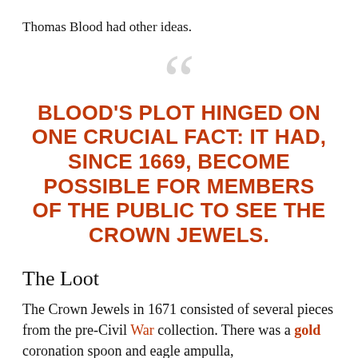Thomas Blood had other ideas.
BLOOD'S PLOT HINGED ON ONE CRUCIAL FACT: IT HAD, SINCE 1669, BECOME POSSIBLE FOR MEMBERS OF THE PUBLIC TO SEE THE CROWN JEWELS.
The Loot
The Crown Jewels in 1671 consisted of several pieces from the pre-Civil War collection. There was a gold coronation spoon and eagle ampulla,